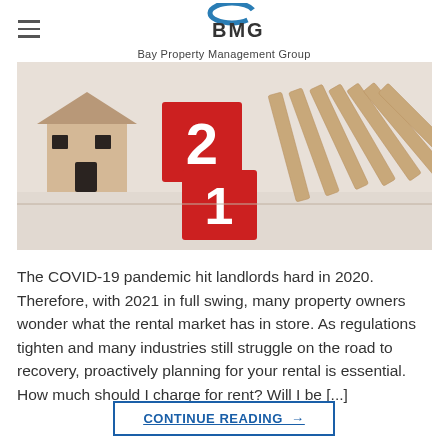BMG Bay Property Management Group
[Figure (photo): Photo of a wooden toy house and red numbered blocks showing '2' and '1' (representing 2021) with falling dominoes in the background on a light wooden surface.]
The COVID-19 pandemic hit landlords hard in 2020. Therefore, with 2021 in full swing, many property owners wonder what the rental market has in store. As regulations tighten and many industries still struggle on the road to recovery, proactively planning for your rental is essential. How much should I charge for rent? Will I be [...]
CONTINUE READING →